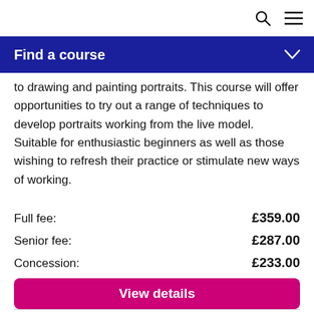🔍 ≡
Find a course
to drawing and painting portraits. This course will offer opportunities to try out a range of techniques to develop portraits working from the live model. Suitable for enthusiastic beginners as well as those wishing to refresh their practice or stimulate new ways of working.
Full fee: £359.00
Senior fee: £287.00
Concession: £233.00
View details